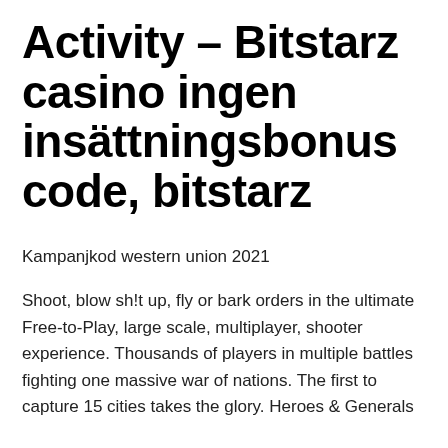Activity – Bitstarz casino ingen insättningsbonus code, bitstarz
Kampanjkod western union 2021
Shoot, blow sh!t up, fly or bark orders in the ultimate Free-to-Play, large scale, multiplayer, shooter experience. Thousands of players in multiple battles fighting one massive war of nations. The first to capture 15 cities takes the glory. Heroes & Generals